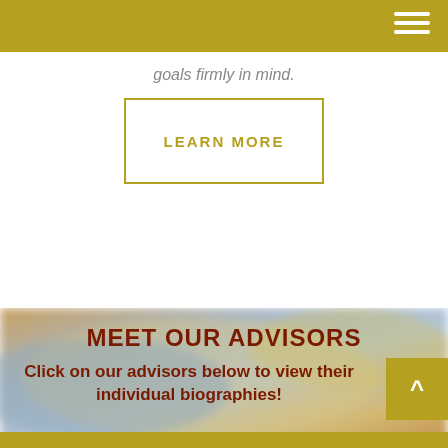goals firmly in mind.
LEARN MORE
[Figure (photo): Blurred background photo of coins/financial imagery with warm gold and blue tones]
MEET OUR ADVISORS
Click on our advisors below to view their individual biographies!